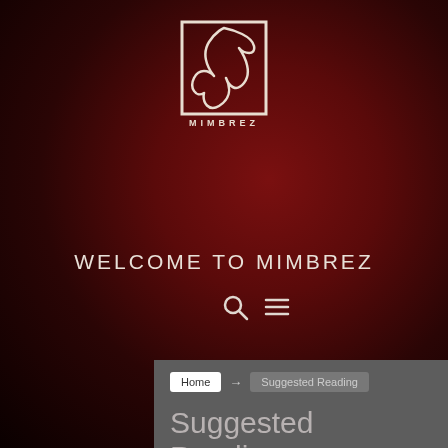[Figure (logo): Mimbrez logo: white line art of a stylized bird/face inside a square frame, with text MIMBREZ below]
WELCOME TO MimbreZ
[Figure (other): Search icon (magnifying glass) and hamburger menu icon navigation bar]
Home → Suggested Reading
Suggested Reading
Posted April 21, 2016  |  4026  0  0
~ Current Reading List ~
The Infinite Sea, Rick Yancy.